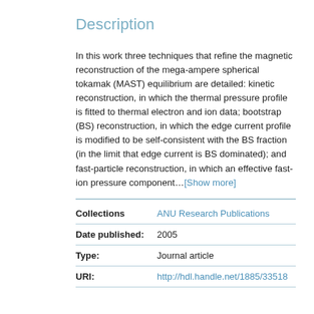Description
In this work three techniques that refine the magnetic reconstruction of the mega-ampere spherical tokamak (MAST) equilibrium are detailed: kinetic reconstruction, in which the thermal pressure profile is fitted to thermal electron and ion data; bootstrap (BS) reconstruction, in which the edge current profile is modified to be self-consistent with the BS fraction (in the limit that edge current is BS dominated); and fast-particle reconstruction, in which an effective fast-ion pressure component…[Show more]
|  |  |
| --- | --- |
| Collections | ANU Research Publications |
| Date published: | 2005 |
| Type: | Journal article |
| URI: | http://hdl.handle.net/1885/33518 |